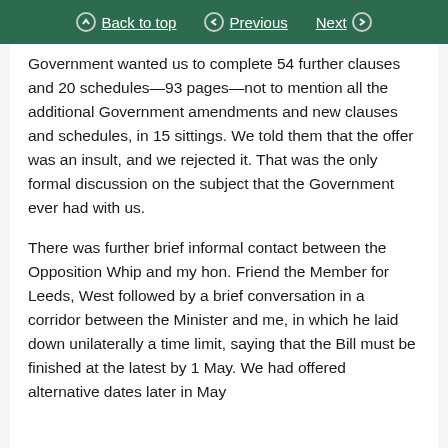Back to top | Previous | Next
Government wanted us to complete 54 further clauses and 20 schedules—93 pages—not to mention all the additional Government amendments and new clauses and schedules, in 15 sittings. We told them that the offer was an insult, and we rejected it. That was the only formal discussion on the subject that the Government ever had with us.
There was further brief informal contact between the Opposition Whip and my hon. Friend the Member for Leeds, West followed by a brief conversation in a corridor between the Minister and me, in which he laid down unilaterally a time limit, saying that the Bill must be finished at the latest by 1 May. We had offered alternative dates later in May